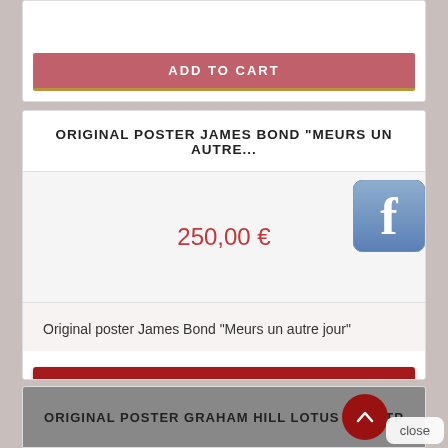ADD TO CART
ORIGINAL POSTER JAMES BOND "MEURS UN AUTRE...
250,00 €
Original poster James Bond "Meurs un autre jour"
ADD TO CART +
ORIGINAL POSTER GRAHAM HILL LOTUS 49B STP
close